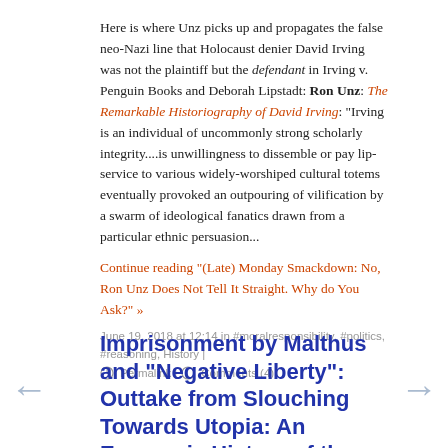Here is where Unz picks up and propagates the false neo-Nazi line that Holocaust denier David Irving was not the plaintiff but the defendant in Irving v. Penguin Books and Deborah Lipstadt: Ron Unz: The Remarkable Historiography of David Irving: "Irving is an individual of uncommonly strong scholarly integrity....is unwillingness to dissemble or pay lip-service to various widely-worshiped cultural totems eventually provoked an outpouring of vilification by a swarm of ideological fanatics drawn from a particular ethnic persuasion...
Continue reading "(Late) Monday Smackdown: No, Ron Unz Does Not Tell It Straight. Why do You Ask?" »
June 19, 2018 at 12:14 in #moralresponsibility, #politics, #reasoning, History | Permalink | Comments (4)
Imprisonment by Malthus and "Negative Liberty": Outtake from Slouching Towards Utopia: An Economic History of the Long 20th Century